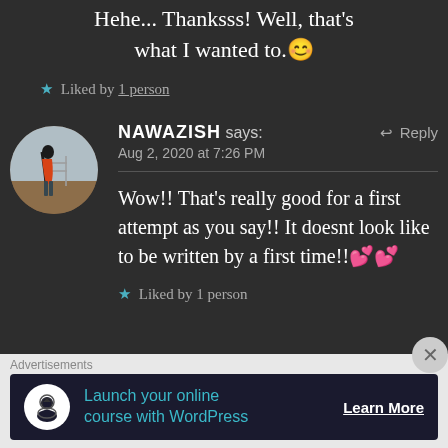Hehe... Thanksss! Well, that's what I wanted to. 😊
★ Liked by 1 person
NAWAZISH says:   Aug 2, 2020 at 7:26 PM   ↩ Reply
Wow!! That's really good for a first attempt as you say!! It doesnt look like to be written by a first time!! 💕💕
★ Liked by 1 person
Advertisements
Launch your online course with WordPress   Learn More